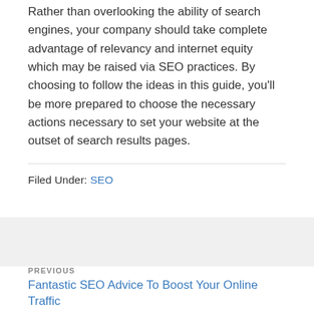Rather than overlooking the ability of search engines, your company should take complete advantage of relevancy and internet equity which may be raised via SEO practices. By choosing to follow the ideas in this guide, you'll be more prepared to choose the necessary actions necessary to set your website at the outset of search results pages.
Filed Under: SEO
PREVIOUS
Fantastic SEO Advice To Boost Your Online Traffic